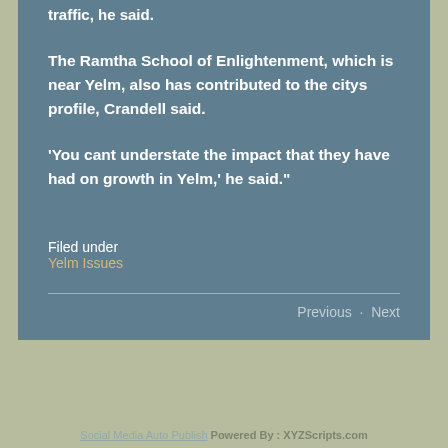traffic, he said.
The Ramtha School of Enlightenment, which is near Yelm, also has contributed to the citys profile, Crandell said.
'You cant understate the impact that they have had on growth in Yelm,' he said."
Filed under
Yelm Issues
Previous · Next
For this post, the comments have been closed.
Social Media Auto Publish Powered By : XYZScripts.com